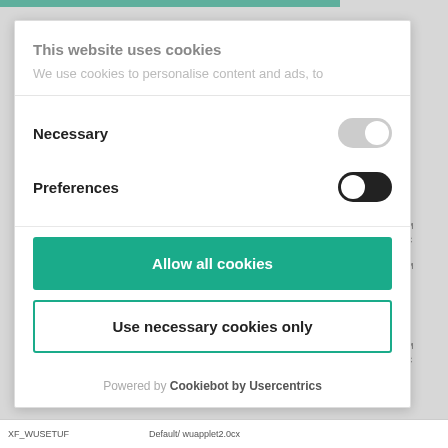This website uses cookies
We use cookies to personalise content and ads, to
Necessary
Preferences
Allow all cookies
Use necessary cookies only
Powered by Cookiebot by Usercentrics
XF_WUSETUF
Default/ wuapplet2.0cx